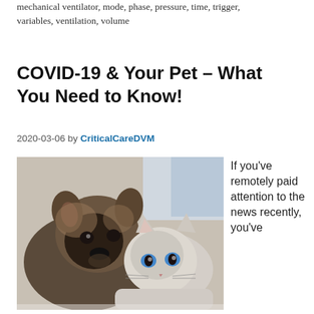mechanical ventilator, mode, phase, pressure, time, trigger, variables, ventilation, volume
COVID-19 & Your Pet – What You Need to Know!
2020-03-06 by CriticalCareDVM
[Figure (photo): A puppy and a cat lying together, the puppy is a fluffy grey/brown mixed breed and the cat is a light-colored tabby with blue eyes.]
If you've remotely paid attention to the news recently, you've